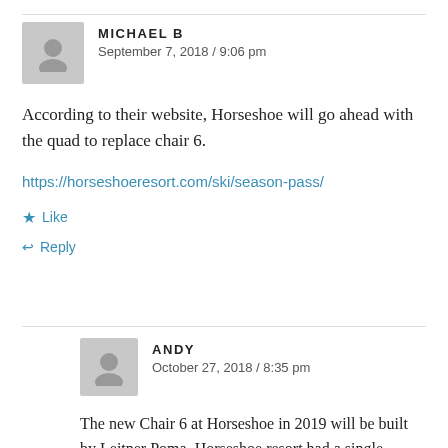MICHAEL B
September 7, 2018 / 9:06 pm
According to their website, Horseshoe will go ahead with the quad to replace chair 6.
https://horseshoeresort.com/ski/season-pass/
Like
Reply
ANDY
October 27, 2018 / 8:35 pm
The new Chair 6 at Horseshoe in 2019 will be built by Leitner Poma. Horseshoe resort had a single Leitner Poma Quad chair in their r booth at the Toronto Ski